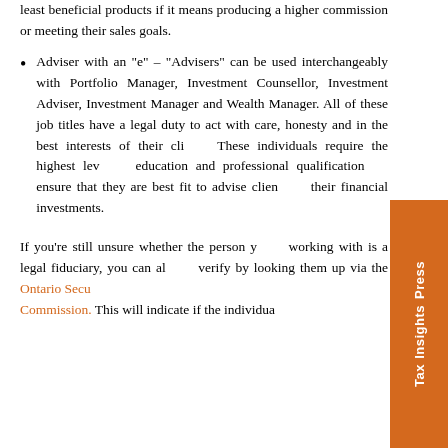least beneficial products if it means producing a higher commission or meeting their sales goals.
Adviser with an “e” – “Advisers” can be used interchangeably with Portfolio Manager, Investment Counsellor, Investment Adviser, Investment Manager and Wealth Manager. All of these job titles have a legal duty to act with care, honesty and in the best interests of their clients. These individuals require the highest level of education and professional qualifications to ensure that they are best fit to advise clients on their financial investments.
If you’re still unsure whether the person you’re working with is a legal fiduciary, you can always verify by looking them up via the Ontario Securities Commission. This will indicate if the individual...